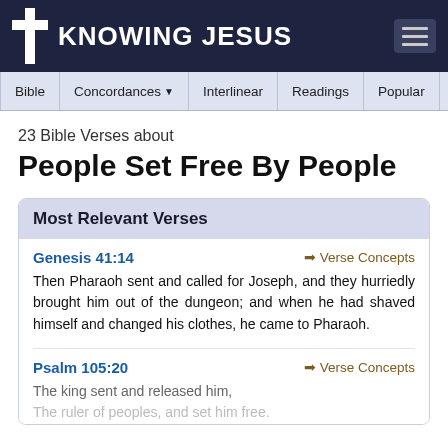KNOWING JESUS
Bible | Concordances | Interlinear | Readings | Popular | More
23 Bible Verses about
People Set Free By People
Most Relevant Verses
Genesis 41:14
Then Pharaoh sent and called for Joseph, and they hurriedly brought him out of the dungeon; and when he had shaved himself and changed his clothes, he came to Pharaoh.
Psalm 105:20
The king sent and released him, The ruler of peoples, and set him free.